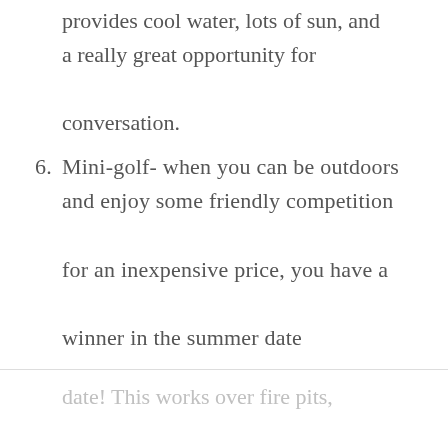provides cool water, lots of sun, and a really great opportunity for conversation.
6. Mini-golf- when you can be outdoors and enjoy some friendly competition for an inexpensive price, you have a winner in the summer date department every time!
7. Have s'mores night- it's the official summer dessert for a reason, and the only thing needed for a great
date! This works over fire pits,